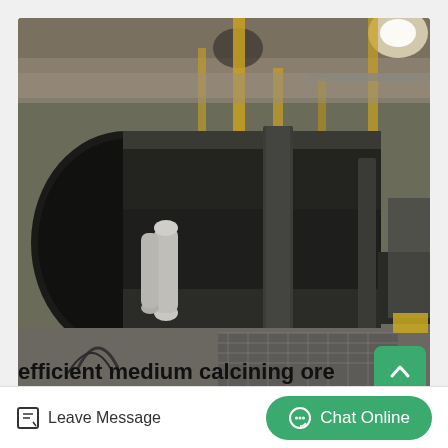[Figure (photo): Large industrial rotary dryer/calcining ore drum inside a manufacturing warehouse facility. The large cylindrical drum is dark metal, mounted on supports, with industrial infrastructure visible in the background including yellow beams, gas cylinders, and other large equipment.]
efficient medium calcining ore industrial dryer price in
Leave Message
Chat Online